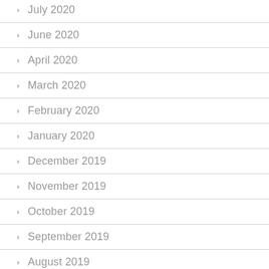July 2020
June 2020
April 2020
March 2020
February 2020
January 2020
December 2019
November 2019
October 2019
September 2019
August 2019